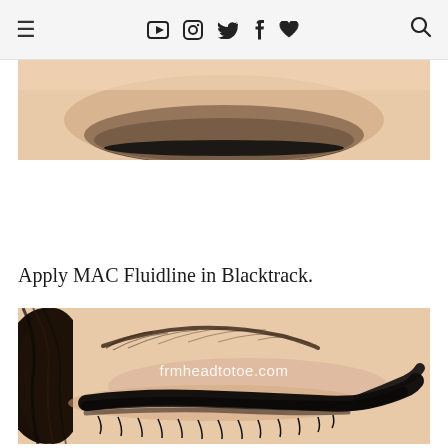≡ ▶ 📷 🐦 f ♥ 🔍
[Figure (photo): Close-up cropped photo of a person's eye with dark eyeshadow applied, showing the lower portion. Watermark: frmheadtotoe.com]
Apply MAC Fluidline in Blacktrack.
[Figure (photo): Close-up photo of a person's closed eye with bold black cat-eye liner applied using MAC Fluidline in Blacktrack. Eyebrow visible. Watermark: frmheadtotoe.com]